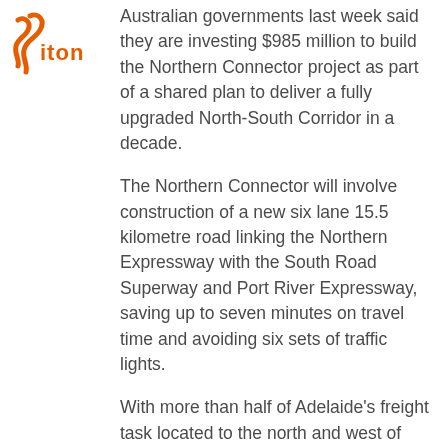[Figure (logo): Iton company logo with orange swoosh/wing mark and 'iton' text in orange]
Australian governments last week said they are investing $985 million to build the Northern Connector project as part of a shared plan to deliver a fully upgraded North-South Corridor in a decade.
The Northern Connector will involve construction of a new six lane 15.5 kilometre road linking the Northern Expressway with the South Road Superway and Port River Expressway, saving up to seven minutes on travel time and avoiding six sets of traffic lights.
With more than half of Adelaide's freight task located to the north and west of Adelaide, the Northern Connector is expected to significantly reduce heavy vehicle travel times and lower operating